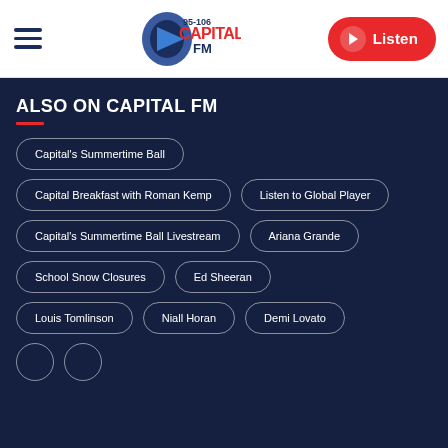[Figure (logo): Capital FM 95-106 logo with microphone graphic]
Listen
ALSO ON CAPITAL FM
Capital's Summertime Ball
Capital Breakfast with Roman Kemp
Listen to Global Player
Capital's Summertime Ball Livestream
Ariana Grande
School Snow Closures
Ed Sheeran
Louis Tomlinson
Niall Horan
Demi Lovato